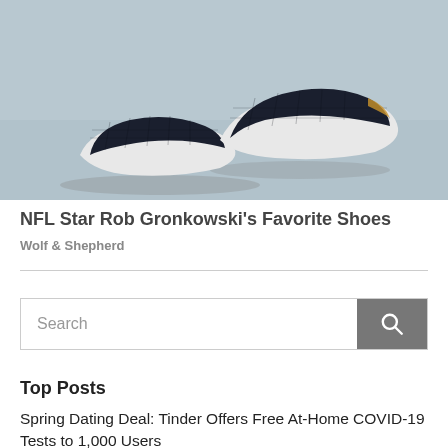[Figure (photo): Photo of dark navy slip-on sneakers (Wolf & Shepherd brand) on a light gray concrete surface, viewed from above at an angle.]
NFL Star Rob Gronkowski's Favorite Shoes
Wolf & Shepherd
Search
Top Posts
Spring Dating Deal: Tinder Offers Free At-Home COVID-19 Tests to 1,000 Users
Mobile Stargazing: 5 of the Best Astronomy Apps to